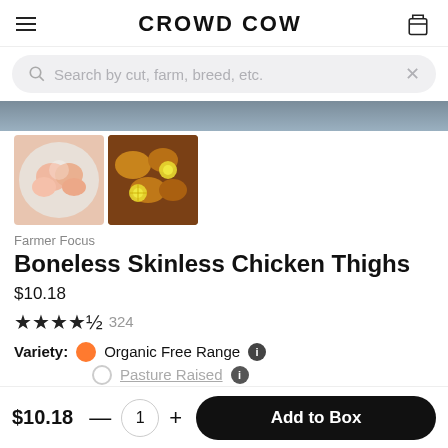CROWD COW
Search by cut, farm, breed, etc.
[Figure (photo): Two thumbnail photos of chicken thighs: one raw on a white plate, one cooked with lemon slices in a pan]
Farmer Focus
Boneless Skinless Chicken Thighs
$10.18
★★★★½  324
Variety: ● Organic Free Range ℹ
○ Pasture Raised ℹ
$10.18  —  1  +  Add to Box